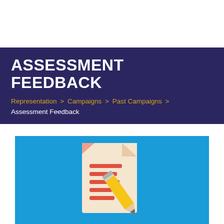ASSESSMENT FEEDBACK
Representation > Campaigns > Past Campaigns > Assessment Feedback
[Figure (illustration): Illustration of a document with red text lines and a yellow pencil overlaid on a light blue background, representing assessment feedback.]